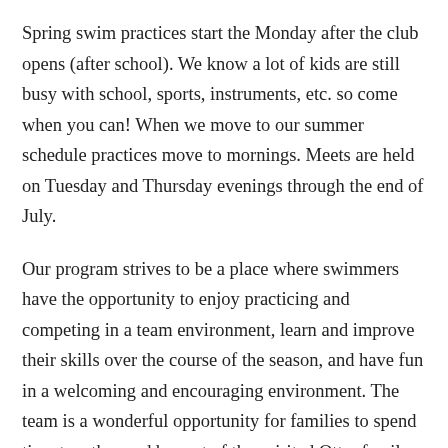Spring swim practices start the Monday after the club opens (after school). We know a lot of kids are still busy with school, sports, instruments, etc. so come when you can! When we move to our summer schedule practices move to mornings. Meets are held on Tuesday and Thursday evenings through the end of July.
Our program strives to be a place where swimmers have the opportunity to enjoy practicing and competing in a team environment, learn and improve their skills over the course of the season, and have fun in a welcoming and encouraging environment. The team is a wonderful opportunity for families to spend time together and be part of the spirited Otter family.